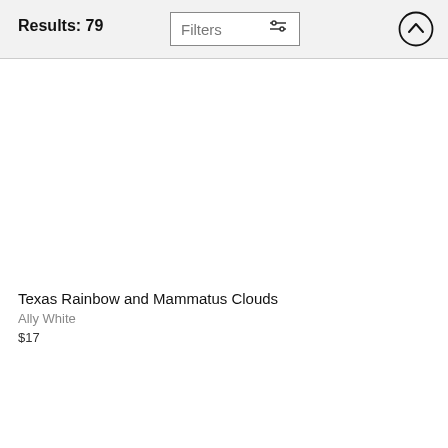Results: 79
Texas Rainbow and Mammatus Clouds
Ally White
$17